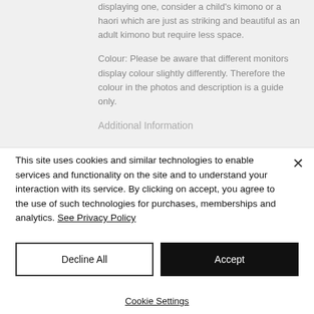displaying one, consider a child's kimono or a haori which are just as striking and beautiful as an adult kimono but require less space.
Colour: Please be aware that different monitors display colour slightly differently. Therefore the colour in the photos and description is a guide only.
Additional Information
This site uses cookies and similar technologies to enable services and functionality on the site and to understand your interaction with its service. By clicking on accept, you agree to the use of such technologies for purchases, memberships and analytics. See Privacy Policy
Decline All
Accept
Cookie Settings